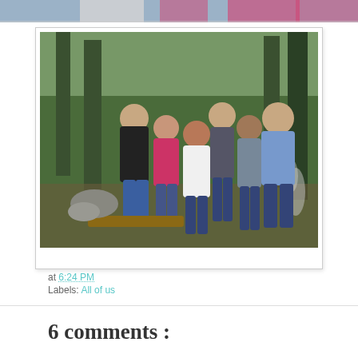[Figure (photo): Top portion of a photo showing people outdoors, partially cropped at top of page]
[Figure (photo): Group photo of six young adults standing together outdoors near trees and a campfire, one person in white dress in center]
at 6:24 PM
Labels: All of us
6 comments :